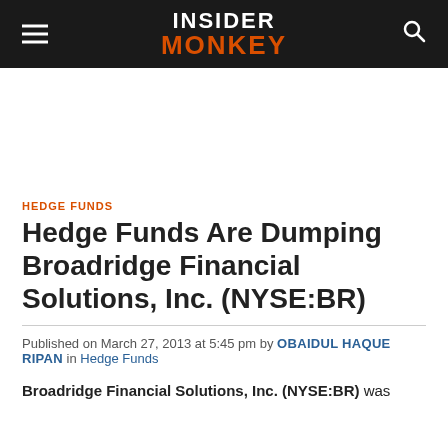INSIDER MONKEY
HEDGE FUNDS
Hedge Funds Are Dumping Broadridge Financial Solutions, Inc. (NYSE:BR)
Published on March 27, 2013 at 5:45 pm by OBAIDUL HAQUE RIPAN in Hedge Funds
Broadridge Financial Solutions, Inc. (NYSE:BR) was